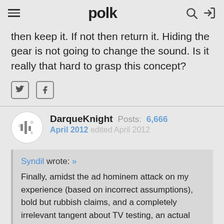polk
then keep it. If not then return it. Hiding the gear is not going to change the sound. Is it really that hard to grasp this concept?
DarqueKnight  Posts: 6,666  April 2012  edited April 2012
Syndil wrote: » Finally, amidst the ad hominem attack on my experience (based on incorrect assumptions), bold but rubbish claims, and a completely irrelevant tangent about TV testing, an actual answer. Was that so hard? I've come to expect and tolerate the holier-than-thou attitude from self-proclaimed audiophiles, but really, it didn't need to